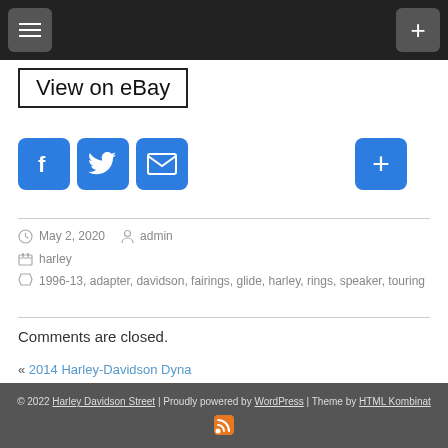Navigation bar with menu and plus button
View on eBay
[Figure (infographic): Social sharing icons: Facebook, Twitter, Email, and a plus/more button]
May 2, 2020  admin
harley
1996-13, adapter, davidson, fairings, glide, harley, rings, speaker, touring
Comments are closed.
« 2014 Harley-Davidson Dyna
2006 Harley Davidson Street Glide Flhx Test Drive Review »
© 2022 Harley Davidson Street | Proudly powered by WordPress | Theme by HTML Kombinat